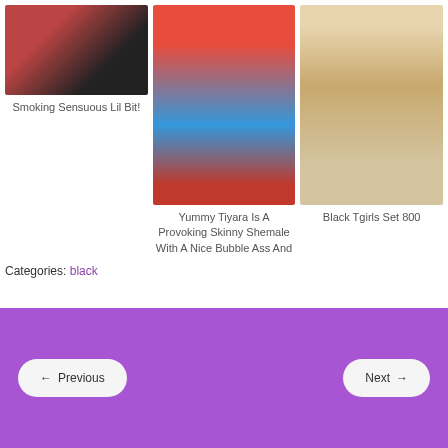[Figure (photo): Partial photo of a person in a red and black outfit, cropped at top]
Smoking Sensuous Lil Bit!
[Figure (photo): Person posing in a Wonder Woman costume with brown boots]
Yummy Tiyara Is A Provoking Skinny Shemale With A Nice Bubble Ass And
[Figure (photo): Person in a short patterned dress standing in a hotel room with a couch]
Black Tgirls Set 800
Categories: black
← Previous    Next →